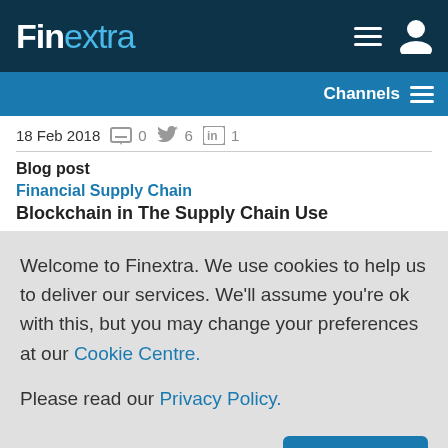Finextra
Channels
18 Feb 2018  0  6  1
Blog post
Financial Supply Chain
Blockchain in The Supply Chain Use
Welcome to Finextra. We use cookies to help us to deliver our services. We'll assume you're ok with this, but you may change your preferences at our Cookie Centre.
Please read our Privacy Policy.